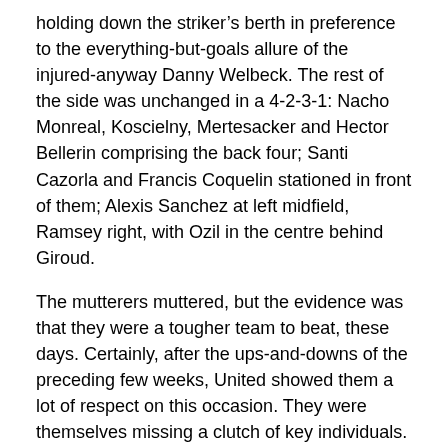holding down the striker's berth in preference to the everything-but-goals allure of the injured-anyway Danny Welbeck. The rest of the side was unchanged in a 4-2-3-1: Nacho Monreal, Koscielny, Mertesacker and Hector Bellerin comprising the back four; Santi Cazorla and Francis Coquelin stationed in front of them; Alexis Sanchez at left midfield, Ramsey right, with Ozil in the centre behind Giroud.
The mutterers muttered, but the evidence was that they were a tougher team to beat, these days. Certainly, after the ups-and-downs of the preceding few weeks, United showed them a lot of respect on this occasion. They were themselves missing a clutch of key individuals.
What with Carrick's confuckulated calf muscle, Blind returned to centre-midfield; while Rojo covered as a third-choice left-back in the absence of Shaw. Rooney's dead leg meant the Merseysider was forced to sit out, so Van Gaal crossed his fingers and toes and sent out a whole dead striker, Falcao, in his stead. Other than those significant changes, the 4-1-4-1...